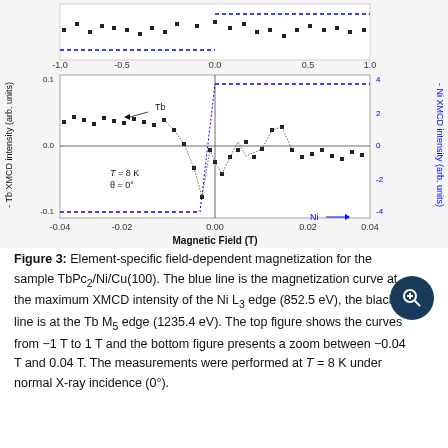[Figure (continuous-plot): Two-panel XMCD hysteresis loop plot. Top panel (x-axis -1 to 1 T) shows Tb XMCD intensity (left y-axis, arb. units) as black squares and Ni XMCD intensity (right y-axis, arb. units, blue dashed). Bottom panel (x-axis -0.04 to 0.04 T) zooms in, showing black squares for Tb signal with sharp switching features near 0 T, blue dashed line for Ni flat hysteresis loop. Labels: T=8K, theta=0 deg, arrows indicating Tb and Ni sweeping directions.]
Figure 3: Element-specific field-dependent magnetization for the sample TbPc2/Ni/Cu(100). The blue line is the magnetization curve at the maximum XMCD intensity of the Ni L3 edge (852.5 eV), the black line is at the Tb M5 edge (1235.4 eV). The top figure shows the curves from −1 T to 1 T and the bottom figure presents a zoom between −0.04 T and 0.04 T. The measurements were performed at T = 8 K under normal X-ray incidence (0°).